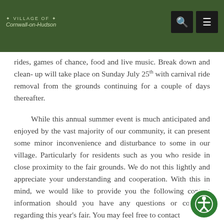Village of Cornwall-on-Hudson
rides, games of chance, food and live music. Break down and clean- up will take place on Sunday July 25th with carnival ride removal from the grounds continuing for a couple of days thereafter.
While this annual summer event is much anticipated and enjoyed by the vast majority of our community, it can present some minor inconvenience and disturbance to some in our village. Particularly for residents such as you who reside in close proximity to the fair grounds. We do not this lightly and appreciate your understanding and cooperation. With this in mind, we would like to provide you the following contact information should you have any questions or concerns regarding this year's fair. You may feel free to contact